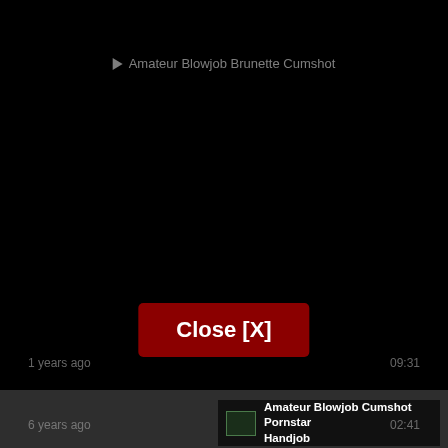[Figure (screenshot): Dark video listing page screenshot showing multiple video thumbnails with titles. First entry: 'Amateur Blowjob Brunette Cumshot' with play icon. Second entry centered: 'Amateur Blowjob', 1 years ago, 09:31. Third entry: 'Amateur Blowjob Brunette Cumshot POV' with play icon, 6 years ago, 02:41. Close [X] button overlay in dark red. Bottom strip shows 'Amateur Blowjob Cumshot Pornstar Handjob'.]